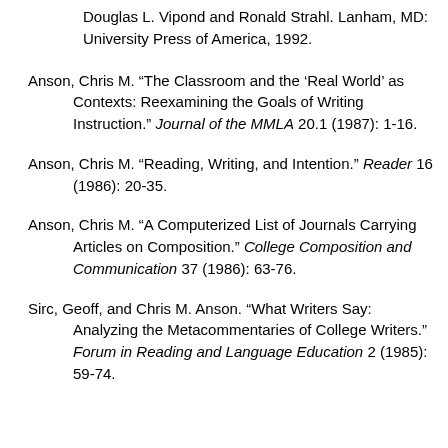Douglas L. Vipond and Ronald Strahl. Lanham, MD: University Press of America, 1992.
Anson, Chris M. “The Classroom and the ‘Real World’ as Contexts: Reexamining the Goals of Writing Instruction.” Journal of the MMLA 20.1 (1987): 1-16.
Anson, Chris M. “Reading, Writing, and Intention.” Reader 16 (1986): 20-35.
Anson, Chris M. “A Computerized List of Journals Carrying Articles on Composition.” College Composition and Communication 37 (1986): 63-76.
Sirc, Geoff, and Chris M. Anson. “What Writers Say: Analyzing the Metacommentaries of College Writers.” Forum in Reading and Language Education 2 (1985): 59-74.